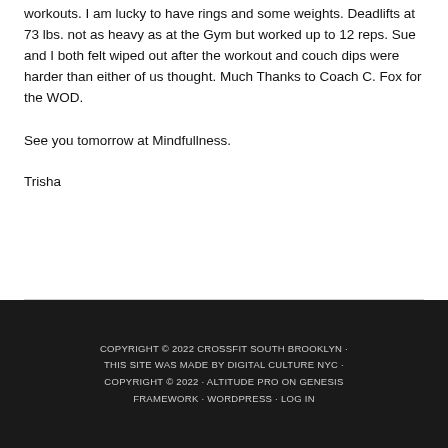workouts. I am lucky to have rings and some weights. Deadlifts at 73 lbs. not as heavy as at the Gym but worked up to 12 reps. Sue and I both felt wiped out after the workout and couch dips were harder than either of us thought. Much Thanks to Coach C. Fox for the WOD.
See you tomorrow at Mindfullness.
Trisha
COPYRIGHT © 2022 CROSSFIT SOUTH BROOKLYN · THIS SITE WAS MADE BY DIGITAL CULTURE NYC · COPYRIGHT © 2022 · ALTITUDE PRO ON GENESIS FRAMEWORK · WORDPRESS · LOG IN